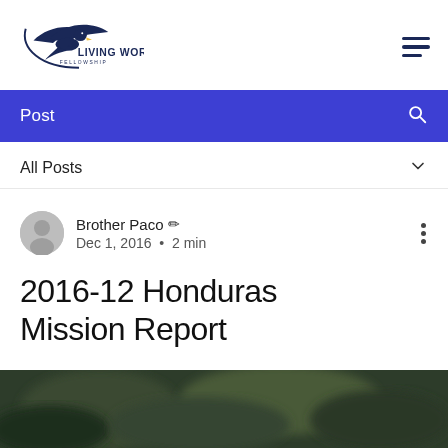[Figure (logo): Living Word Fellowship logo with eagle silhouette and circular design]
Post
All Posts
Brother Paco  Dec 1, 2016 • 2 min
2016-12 Honduras Mission Report
[Figure (photo): Blurred outdoor/nature photo at bottom of page]